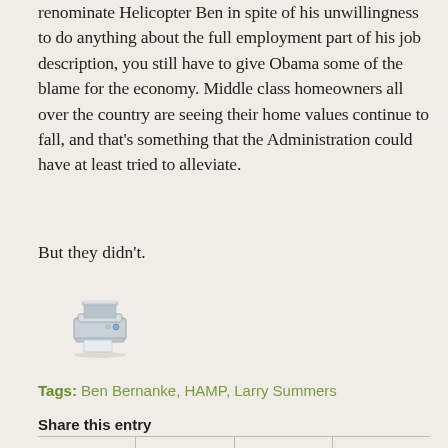renominate Helicopter Ben in spite of his unwillingness to do anything about the full employment part of his job description, you still have to give Obama some of the blame for the economy. Middle class homeowners all over the country are seeing their home values continue to fall, and that's something that the Administration could have at least tried to alleviate.
But they didn't.
[Figure (illustration): Printer icon image]
Tags: Ben Bernanke, HAMP, Larry Summers
Share this entry
|  |  |  |  |